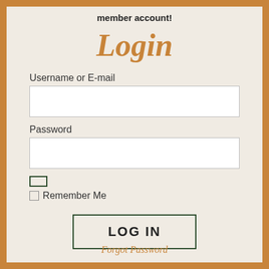member account!
Login
Username or E-mail
Password
[Figure (screenshot): Dark green bordered checkbox (unchecked, wider style)]
Remember Me
LOG IN
Forgot Password